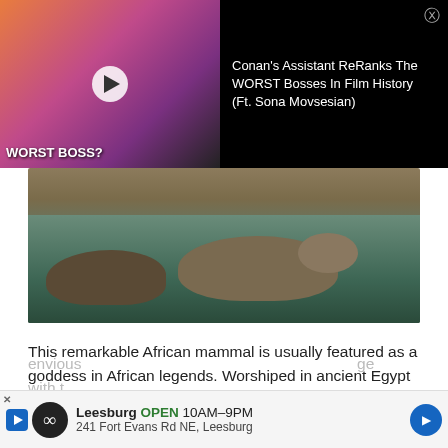[Figure (screenshot): YouTube video ad overlay on dark background showing thumbnail with two people reacting and a man with text 'WORST BOSS?' with video title 'Conan's Assistant ReRanks The WORST Bosses In Film History (Ft. Sona Movsesian)']
[Figure (photo): Hippos partially submerged in a river or body of water, viewed from above showing their backs and heads above the waterline]
This remarkable African mammal is usually featured as a goddess in African legends. Worshiped in ancient Egypt as Tawaret, the goddess of fertility and childbirth, she was essentially regarded as a protective and caring deity.
In Mozambique, the Ronga people tell the legend of a mother who left her child with Mother Hippo for safekeeping as the child's life was threatened by an envious... ge with t...
[Figure (screenshot): Bottom advertisement bar for Leesburg business showing infinity logo, text 'Leesburg OPEN 10AM-9PM 241 Fort Evans Rd NE, Leesburg' with blue navigation arrow]